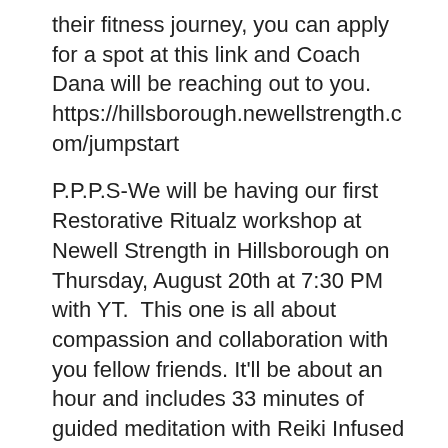their fitness journey, you can apply for a spot at this link and Coach Dana will be reaching out to you. https://hillsborough.newellstrength.com/jumpstart
P.P.P.S-We will be having our first Restorative Ritualz workshop at Newell Strength in Hillsborough on Thursday, August 20th at 7:30 PM with YT.  This one is all about compassion and collaboration with you fellow friends. It'll be about an hour and includes 33 minutes of guided meditation with Reiki Infused Sound Healing.  Spots are limited to 15 people, reserve a spot by emailing msyvonnetang@gmail.com